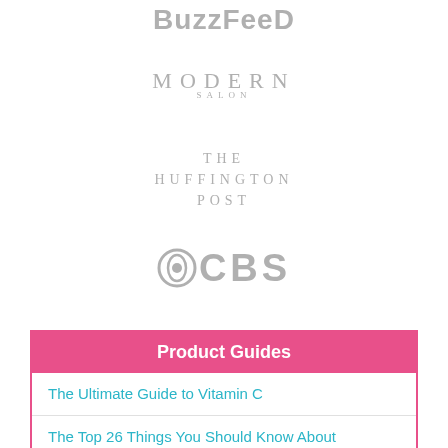[Figure (logo): BuzzFeed logo in gray]
[Figure (logo): Modern Salon logo in gray]
[Figure (logo): The Huffington Post logo in gray]
[Figure (logo): CBS logo with eye icon in gray]
Product Guides
The Ultimate Guide to Vitamin C
The Top 26 Things You Should Know About Hyaluronic Acid